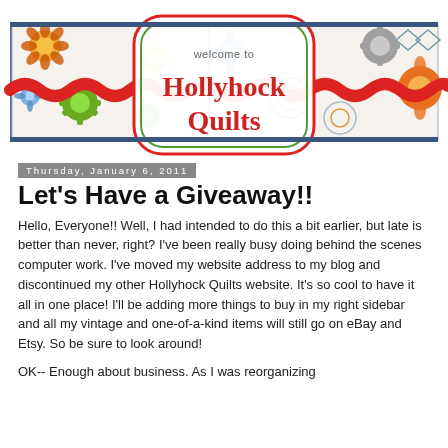[Figure (illustration): Blog header banner for Hollyhock Quilts with colorful floral decorations, red ric-rac ribbon, and a center badge reading 'welcome to Hollyhock Quilts']
Thursday, January 6, 2011
Let's Have a Giveaway!!
Hello, Everyone!!  Well, I had intended to do this a bit earlier, but late is better than never, right?  I've been really busy doing behind the scenes computer work.  I've moved my website address to my blog and discontinued my other Hollyhock Quilts website.  It's so cool to have it all in one place!  I'll be adding more things to buy in my right sidebar and all my vintage and one-of-a-kind items will still go on eBay and Etsy.  So be sure to look around!
OK--  Enough about business.  As I was reorganizing